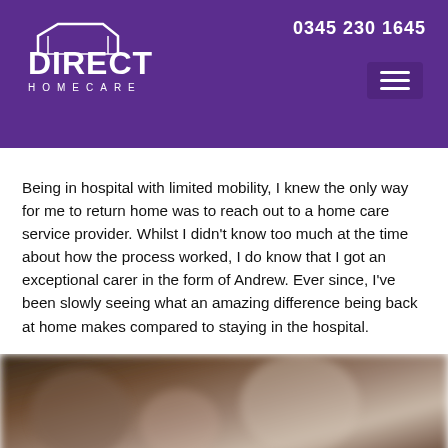DIRECT HOMECARE — 0345 230 1645
Being in hospital with limited mobility, I knew the only way for me to return home was to reach out to a home care service provider. Whilst I didn't know too much at the time about how the process worked, I do know that I got an exceptional carer in the form of Andrew. Ever since, I've been slowly seeing what an amazing difference being back at home makes compared to staying in the hospital.
[Figure (photo): Blurred indoor photo, dark warm tones suggesting a home or care environment]